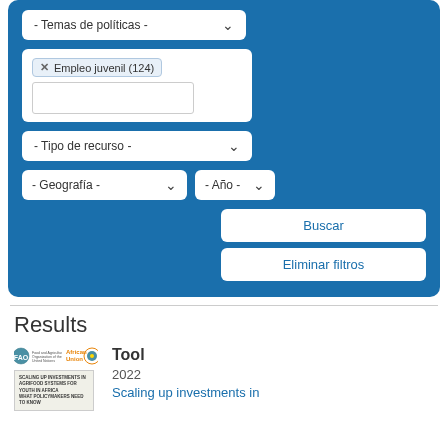[Figure (screenshot): Blue search/filter panel with dropdown for Temas de políticas, tag filter for Empleo juvenil (124), text input, Tipo de recurso dropdown, Geografía and Año dropdowns, Buscar and Eliminar filtros buttons]
Results
[Figure (logo): FAO (Food and Agriculture Organization of the United Nations) logo and African Union logo side by side]
Tool
2022
Scaling up investments in
[Figure (illustration): Thumbnail cover of document: SCALING UP INVESTMENTS IN AGRIFOOD SYSTEMS FOR YOUTH IN AFRICA WHAT POLICYMAKERS NEED TO KNOW]